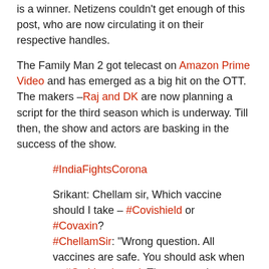is a winner. Netizens couldn't get enough of this post, who are now circulating it on their respective handles.
The Family Man 2 got telecast on Amazon Prime Video and has emerged as a big hit on the OTT. The makers –Raj and DK are now planning a script for the third season which is underway. Till then, the show and actors are basking in the success of the show.
#IndiaFightsCorona
Srikant: Chellam sir, Which vaccine should I take – #Covishield or #Covaxin? #ChellamSir: "Wrong question. All vaccines are safe. You should ask when to #GetVaccinated. The answer is, as soon as possible."#We4Vaccine #LargestVaccineDrive@BajpayeeManoj